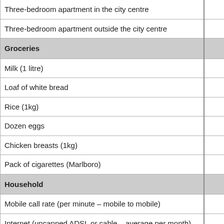| Item | Value |
| --- | --- |
| Three-bedroom apartment in the city centre |  |
| Three-bedroom apartment outside the city centre |  |
| Groceries |  |
| Milk (1 litre) |  |
| Loaf of white bread |  |
| Rice (1kg) |  |
| Dozen eggs |  |
| Chicken breasts (1kg) |  |
| Pack of cigarettes (Marlboro) |  |
| Household |  |
| Mobile call rate (per minute – mobile to mobile) |  |
| Internet (uncapped ADSL or cable – average per month) |  |